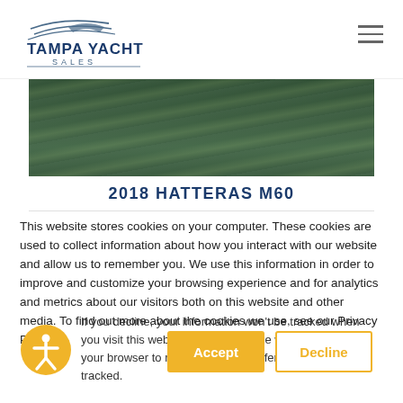[Figure (logo): Tampa Yacht Sales logo with stylized boat silhouette and curved lines above text]
[Figure (photo): Boat on water, showing water surface with greenish hues, partial view of vessel hull]
2018 HATTERAS M60
This website stores cookies on your computer. These cookies are used to collect information about how you interact with our website and allow us to remember you. We use this information in order to improve and customize your browsing experience and for analytics and metrics about our visitors both on this website and other media. To find out more about the cookies we use, see our Privacy Policy.
If you decline, your information won't be tracked when you visit this website. A single cookie will be used in your browser to remember your preference not to be tracked.